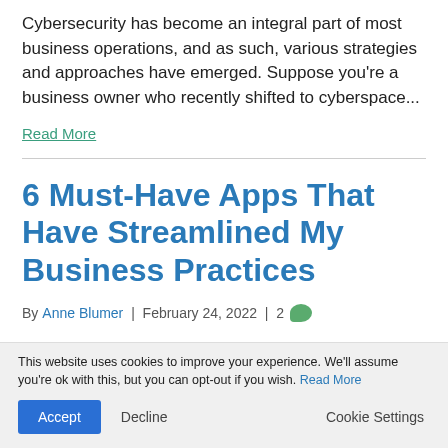Cybersecurity has become an integral part of most business operations, and as such, various strategies and approaches have emerged. Suppose you're a business owner who recently shifted to cyberspace...
Read More
6 Must-Have Apps That Have Streamlined My Business Practices
By Anne Blumer | February 24, 2022 | 2
This website uses cookies to improve your experience. We'll assume you're ok with this, but you can opt-out if you wish. Read More
Accept  Decline  Cookie Settings